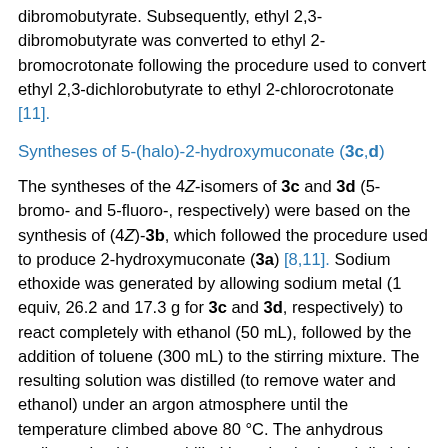dibromobutyrate. Subsequently, ethyl 2,3-dibromobutyrate was converted to ethyl 2-bromocrotonate following the procedure used to convert ethyl 2,3-dichlorobutyrate to ethyl 2-chlorocrotonate [11].
Syntheses of 5-(halo)-2-hydroxymuconate (3c,d)
The syntheses of the 4Z-isomers of 3c and 3d (5-bromo- and 5-fluoro-, respectively) were based on the synthesis of (4Z)-3b, which followed the procedure used to produce 2-hydroxymuconate (3a) [8,11]. Sodium ethoxide was generated by allowing sodium metal (1 equiv, 26.2 and 17.3 g for 3c and 3d, respectively) to react completely with ethanol (50 mL), followed by the addition of toluene (300 mL) to the stirring mixture. The resulting solution was distilled (to remove water and ethanol) under an argon atmosphere until the temperature climbed above 80 °C. The anhydrous sodium ethoxide was chilled in an ice bath and diethyl oxalate (1 equiv, 6.5 g and 4.3 g for 3c and 3d, respectively) was added, followed by the addition of ethyl 2-bromo- or ethyl 2-fluorocrotonate [1 equiv, 6.7 g (42.4 mmol) and 4.4 g (27.9 mmol) for 3c and 3d, respectively]. The ethyl 2-halocrotonates